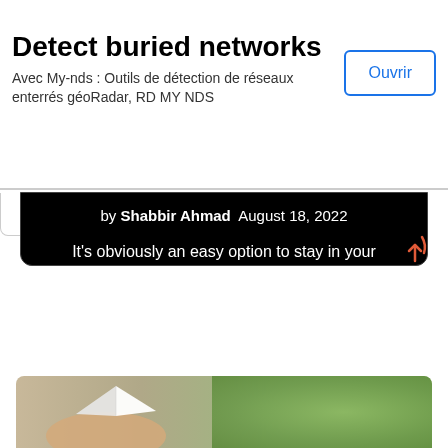[Figure (screenshot): Advertisement banner: 'Detect buried networks' with subtitle in French about My-nds geolocation tools, and an 'Ouvrir' button]
by Shabbir Ahmad  August 18, 2022
It’s obviously an easy option to stay in your comfort zone and never try anything new and different, and it is entirely possible to go through your life in that way. Some people certainly do. However, if you choose this option, you’ll miss out on…
Read More →
[Figure (photo): Partial photo at the bottom showing a hand holding a white paper airplane against a green blurred background]